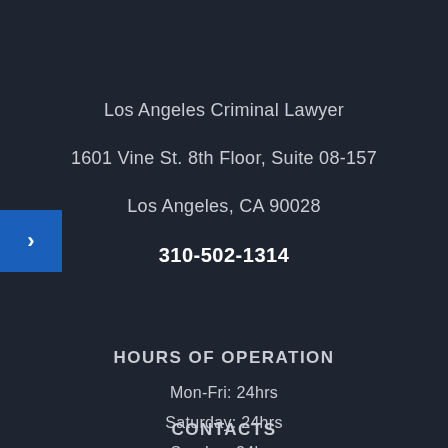Los Angeles Criminal Lawyer
1601 Vine St. 8th Floor, Suite 08-157
Los Angeles, CA 90028
310-502-1314
HOURS OF OPERATION
Mon-Fri: 24hrs
Saturday: 24hrs
Sunday: 24hrs
CONTACTS